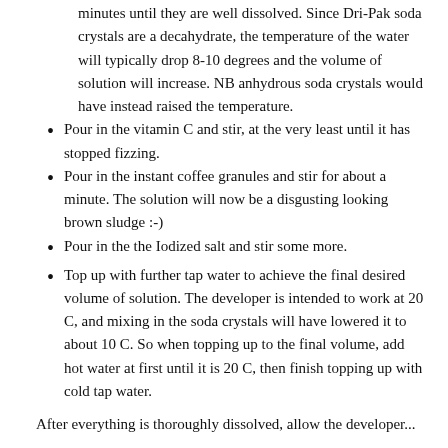minutes until they are well dissolved. Since Dri-Pak soda crystals are a decahydrate, the temperature of the water will typically drop 8-10 degrees and the volume of solution will increase. NB anhydrous soda crystals would have instead raised the temperature.
Pour in the vitamin C and stir, at the very least until it has stopped fizzing.
Pour in the instant coffee granules and stir for about a minute. The solution will now be a disgusting looking brown sludge :-)
Pour in the the Iodized salt and stir some more.
Top up with further tap water to achieve the final desired volume of solution. The developer is intended to work at 20 C, and mixing in the soda crystals will have lowered it to about 10 C. So when topping up to the final volume, add hot water at first until it is 20 C, then finish topping up with cold tap water.
After everything is thoroughly dissolved, allow the developer...